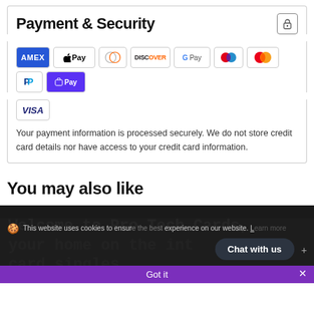Payment & Security
[Figure (logo): Payment method icons: AMEX, Apple Pay, Diners, Discover, Google Pay, Maestro, Mastercard, PayPal, Shop Pay, Visa]
Your payment information is processed securely. We do not store credit card details nor have access to your credit card information.
You may also like
Welcome to Pro Tech Cards, your home on the int... card singles.
This website uses cookies to ensure... experience on our website. L... Chat with us Got it